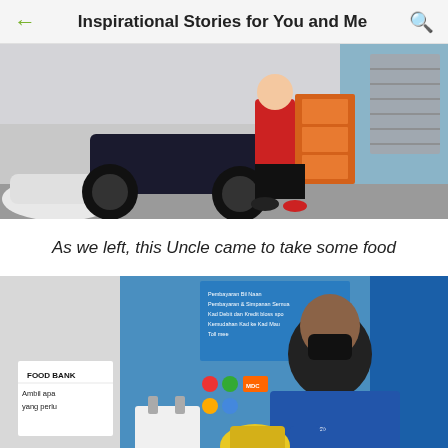Inspirational Stories for You and Me
[Figure (photo): Street scene with motorcycles and a person in red clothing sitting near stacked boxes outside a building with a blue wall and metal shutter.]
As we left, this Uncle came to take some food
[Figure (photo): A man wearing a blue shirt and black face mask taking food from a Food Bank station. A sign reads 'FOOD BANK - Ambil apa yang perlu'. A blue information board is visible in the background.]